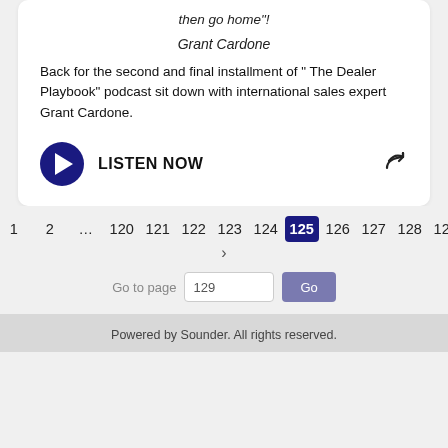then go home"!
Grant Cardone
Back for the second and final installment of " The Dealer Playbook" podcast sit down with international sales expert Grant Cardone.
LISTEN NOW
‹ 1 2 … 120 121 122 123 124 125 126 127 128 129 ›
Go to page 129 Go
Powered by Sounder. All rights reserved.